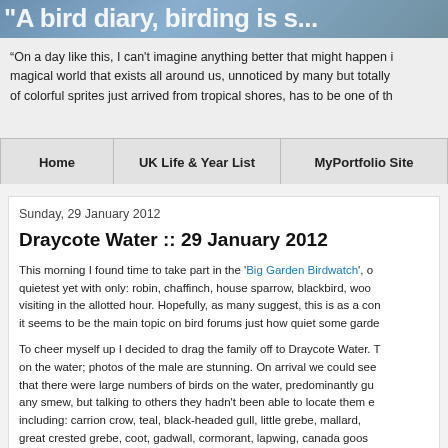[Figure (photo): Header image of birds with white overlaid text partially visible]
“On a day like this, I can’t imagine anything better that might happen i… magical world that exists all around us, unnoticed by many but totally… of colorful sprites just arrived from tropical shores, has to be one of th…
Home | UK Life & Year List | MyPortfolio Site
Sunday, 29 January 2012
Draycote Water :: 29 January 2012
This morning I found time to take part in the ‘Big Garden Birdwatch’, o… quietest yet with only: robin, chaffinch, house sparrow, blackbird, woo… visiting in the allotted hour. Hopefully, as many suggest, this is as a con… it seems to be the main topic on bird forums just how quiet some garde…
To cheer myself up I decided to drag the family off to Draycote Water. T… on the water; photos of the male are stunning. On arrival we could see… that there were large numbers of birds on the water, predominantly gu… any smew, but talking to others they hadn’t been able to locate them e… including: carrion crow, teal, black-headed gull, little grebe, mallard,… great crested grebe, coot, gadwall, cormorant, lapwing, canada goos…